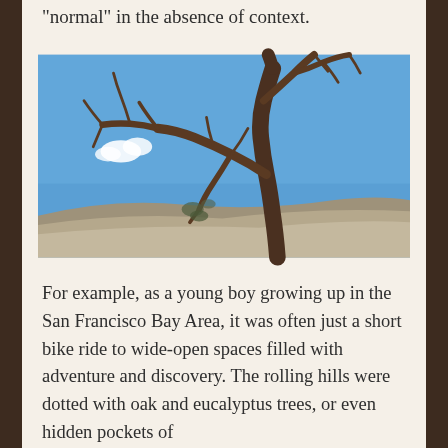“normal” in the absence of context.
[Figure (photo): A gnarled, bare-branched tree growing on a rocky ledge against a bright blue sky with a small white cloud visible to the left]
For example, as a young boy growing up in the San Francisco Bay Area, it was often just a short bike ride to wide-open spaces filled with adventure and discovery. The rolling hills were dotted with oak and eucalyptus trees, or even hidden pockets of